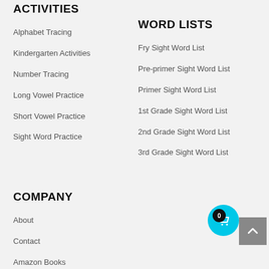ACTIVITIES
Alphabet Tracing
Kindergarten Activities
Number Tracing
Long Vowel Practice
Short Vowel Practice
Sight Word Practice
WORD LISTS
Fry Sight Word List
Pre-primer Sight Word List
Primer Sight Word List
1st Grade Sight Word List
2nd Grade Sight Word List
3rd Grade Sight Word List
COMPANY
About
Contact
Amazon Books